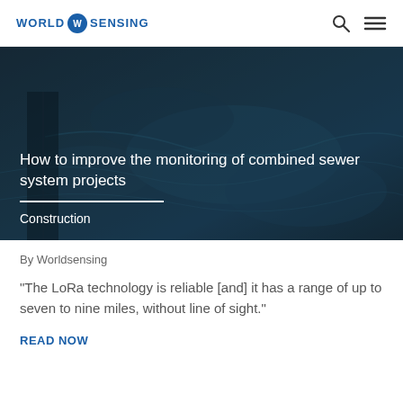WORLD SENSING
[Figure (photo): Aerial view of water/sewer system, dark teal tones, used as hero image background]
How to improve the monitoring of combined sewer system projects
Construction
By Worldsensing
“The LoRa technology is reliable [and] it has a range of up to seven to nine miles, without line of sight.”
READ NOW